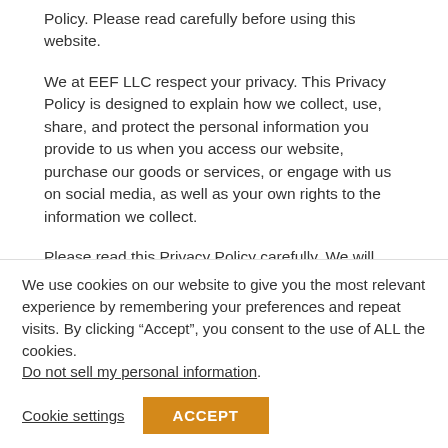Policy. Please read carefully before using this website.
We at EEF LLC respect your privacy. This Privacy Policy is designed to explain how we collect, use, share, and protect the personal information you provide to us when you access our website, purchase our goods or services, or engage with us on social media, as well as your own rights to the information we collect.
Please read this Privacy Policy carefully. We will alert you to any changes to this Policy by changing the “last updated” date at the top of this Policy. Any changes become effective
We use cookies on our website to give you the most relevant experience by remembering your preferences and repeat visits. By clicking “Accept”, you consent to the use of ALL the cookies.
Do not sell my personal information.
Cookie settings
ACCEPT